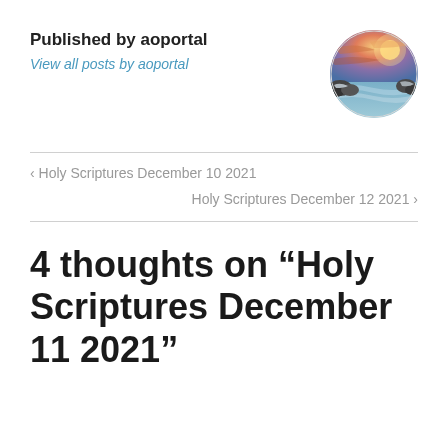Published by aoportal
View all posts by aoportal
[Figure (photo): Circular avatar image showing a coastal sunset scene with rocks and dramatic sky]
‹ Holy Scriptures December 10 2021
Holy Scriptures December 12 2021 ›
4 thoughts on “Holy Scriptures December 11 2021”